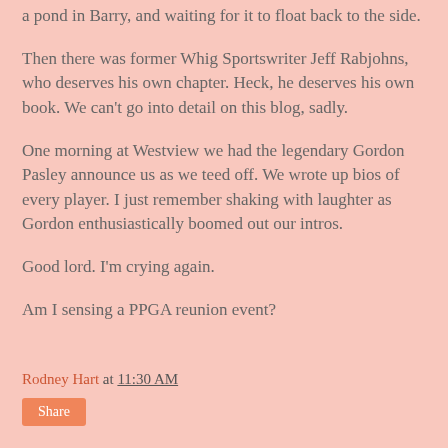a pond in Barry, and waiting for it to float back to the side.
Then there was former Whig Sportswriter Jeff Rabjohns, who deserves his own chapter. Heck, he deserves his own book. We can't go into detail on this blog, sadly.
One morning at Westview we had the legendary Gordon Pasley announce us as we teed off. We wrote up bios of every player. I just remember shaking with laughter as Gordon enthusiastically boomed out our intros.
Good lord. I'm crying again.
Am I sensing a PPGA reunion event?
Rodney Hart at 11:30 AM
Share